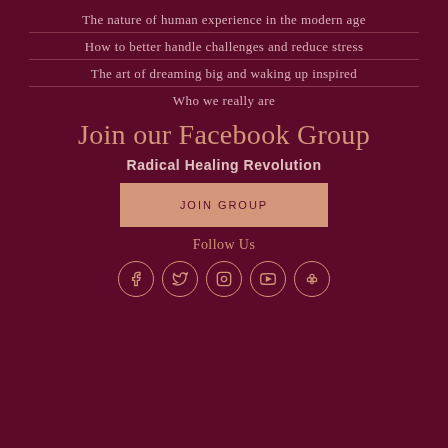The nature of human experience in the modern age
How to better handle challenges and reduce stress
The art of dreaming big and waking up inspired
Who we really are
Join our Facebook Group
Radical Healing Revolution
JOIN GROUP
Follow Us
[Figure (illustration): Five social media icons in circles: Facebook, Twitter, Instagram, YouTube, and a flower/clover icon, arranged in a row]